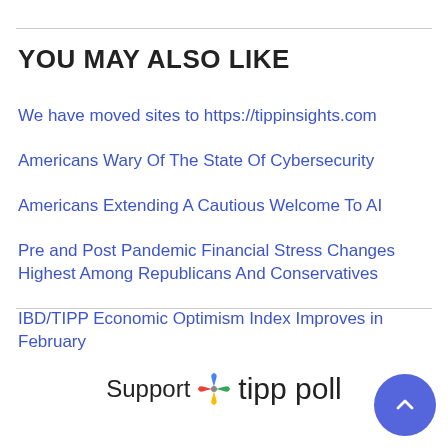YOU MAY ALSO LIKE
We have moved sites to https://tippinsights.com
Americans Wary Of The State Of Cybersecurity
Americans Extending A Cautious Welcome To AI
Pre and Post Pandemic Financial Stress Changes Highest Among Republicans And Conservatives
IBD/TIPP Economic Optimism Index Improves in February
[Figure (logo): Support tipp poll logo with colorful pinwheel/star icon]